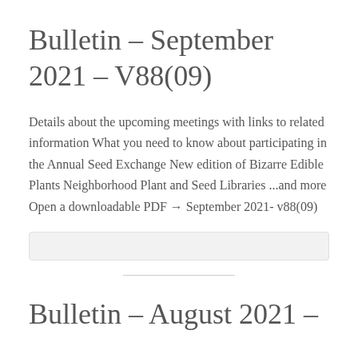Bulletin – September 2021 – V88(09)
Details about the upcoming meetings with links to related information What you need to know about participating in the Annual Seed Exchange New edition of Bizarre Edible Plants Neighborhood Plant and Seed Libraries ...and more Open a downloadable PDF → September 2021- v88(09)
Bulletin – August 2021 –